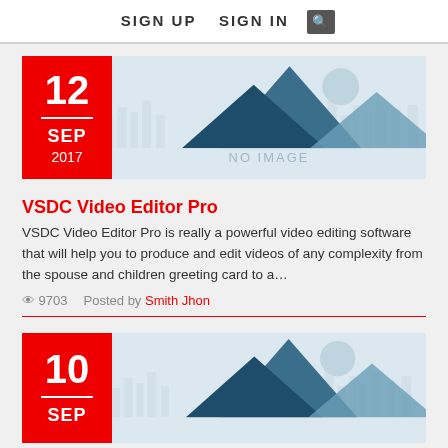SIGN UP   SIGN IN   [search icon]
[Figure (illustration): Blog post thumbnail placeholder with mountain/cityscape illustration and NO IMAGE label, date badge showing 12 SEP 2017]
VSDC Video Editor Pro
VSDC Video Editor Pro is really a powerful video editing software that will help you to produce and edit videos of any complexity from the spouse and children greeting card to a…
9703   Posted by Smith Jhon
[Figure (illustration): Second blog post thumbnail placeholder with mountain/cityscape illustration, date badge showing 10 SEP]